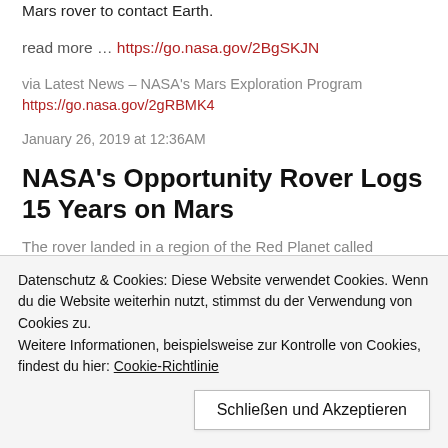Mars rover to contact Earth.
read more … https://go.nasa.gov/2BgSKJN
via Latest News – NASA's Mars Exploration Program https://go.nasa.gov/2gRBMK4
January 26, 2019 at 12:36AM
NASA's Opportunity Rover Logs 15 Years on Mars
The rover landed in a region of the Red Planet called Meridiani Planum 16 years ago today, on Jan. 24, 2004.
Datenschutz & Cookies: Diese Website verwendet Cookies. Wenn du die Website weiterhin nutzt, stimmst du der Verwendung von Cookies zu.
Weitere Informationen, beispielsweise zur Kontrolle von Cookies, findest du hier: Cookie-Richtlinie
Schließen und Akzeptieren